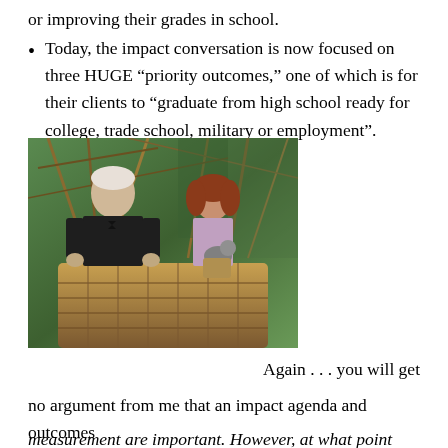or improving their grades in school.
Today, the impact conversation is now focused on three HUGE “priority outcomes,” one of which is for their clients to “graduate from high school ready for college, trade school, military or employment”.
[Figure (photo): A vintage color photo from the Wizard of Oz film showing an older man in a dark suit and bow tie standing in a hot air balloon basket alongside a young girl with red curly hair holding a small dog, with ropes and green background visible.]
Again . . . you will get no argument from me that an impact agenda and outcomes measurement are important. However, at what point does it get
measurement are important. However, at what point does it get